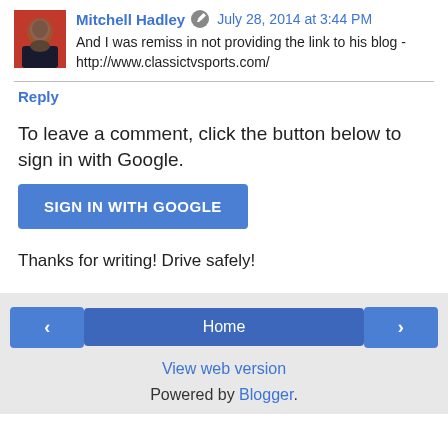Mitchell Hadley  July 28, 2014 at 3:44 PM
And I was remiss in not providing the link to his blog - http://www.classictvsports.com/
Reply
To leave a comment, click the button below to sign in with Google.
[Figure (other): Blue button labeled SIGN IN WITH GOOGLE]
Thanks for writing! Drive safely!
< Home > View web version Powered by Blogger.